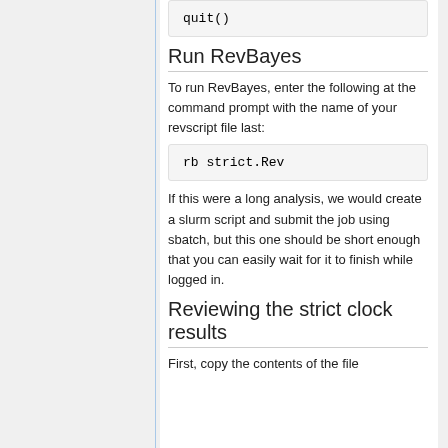quit()
Run RevBayes
To run RevBayes, enter the following at the command prompt with the name of your revscript file last:
rb strict.Rev
If this were a long analysis, we would create a slurm script and submit the job using sbatch, but this one should be short enough that you can easily wait for it to finish while logged in.
Reviewing the strict clock results
First, copy the contents of the file